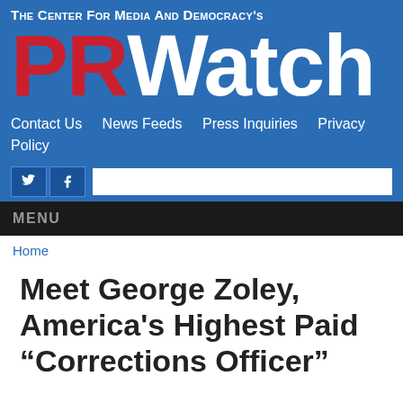The Center for Media and Democracy's PR Watch
Contact Us   News Feeds   Press Inquiries   Privacy Policy
MENU
Home
Meet George Zoley, America's Highest Paid “Corrections Officer”